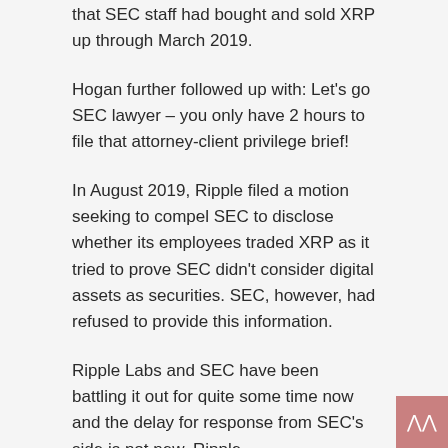that SEC staff had bought and sold XRP up through March 2019.
Hogan further followed up with: Let's go SEC lawyer – you only have 2 hours to file that attorney-client privilege brief!
In August 2019, Ripple filed a motion seeking to compel SEC to disclose whether its employees traded XRP as it tried to prove SEC didn't consider digital assets as securities. SEC, however, had refused to provide this information.
Ripple Labs and SEC have been battling it out for quite some time now and the delay for response from SEC's side is not new. Ripple